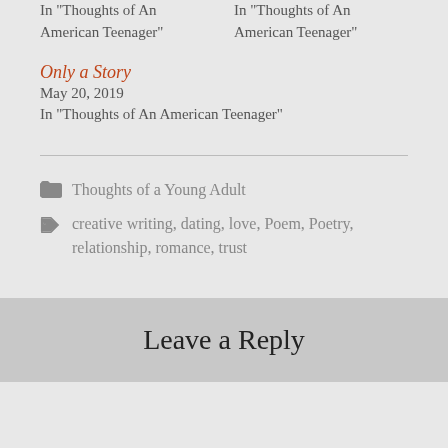In "Thoughts of An American Teenager"
In "Thoughts of An American Teenager"
Only a Story
May 20, 2019
In "Thoughts of An American Teenager"
Thoughts of a Young Adult
creative writing, dating, love, Poem, Poetry, relationship, romance, trust
Leave a Reply